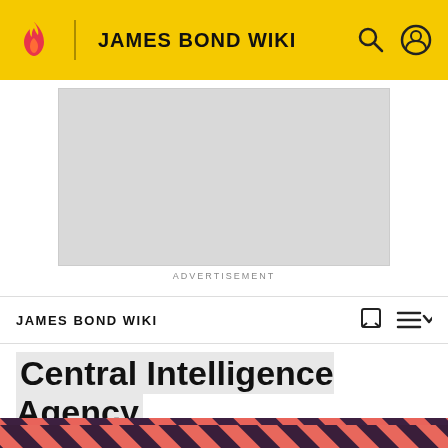JAMES BOND WIKI
[Figure (other): Grey advertisement placeholder box]
ADVERTISEMENT
JAMES BOND WIKI
Central Intelligence Agency
[Figure (photo): Hero banner with diagonal pink and dark stripes pattern and a dark-haired person in black leather jacket]